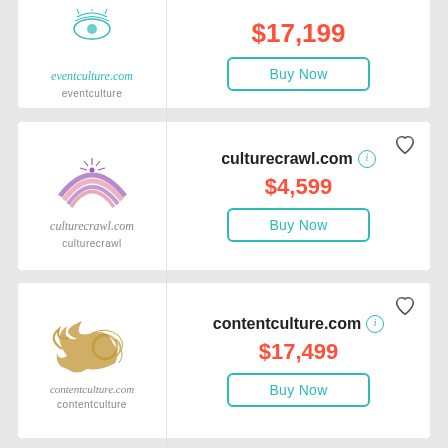[Figure (logo): eventculture.com logo with teal eye/feather design, italic script text eventculture.com and label eventculture]
$17,199
Buy Now
[Figure (logo): culturecrawl.com logo with purple layered bird/fan design, italic script text culturecrawl.com and label culturecrawl]
culturecrawl.com
$4,599
Buy Now
[Figure (logo): contentculture.com logo with gold flame/swirl design, italic script text contentculture.com and label contentculture]
contentculture.com
$17,499
Buy Now